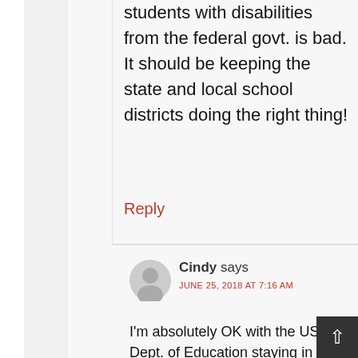students with disabilities from the federal govt. is bad. It should be keeping the state and local school districts doing the right thing!
Reply
Cindy says
JUNE 25, 2018 AT 7:16 AM
I'm absolutely OK with the US Dept. of Education staying in